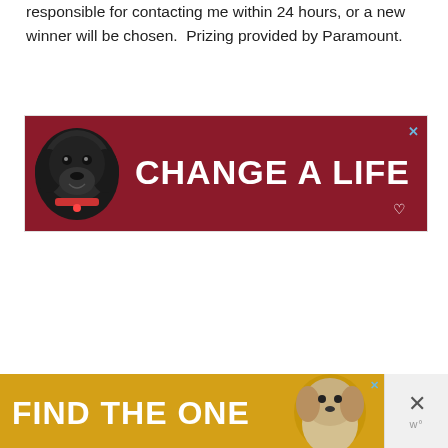responsible for contacting me within 24 hours, or a new winner will be chosen.  Prizing provided by Paramount.
[Figure (illustration): Advertisement banner with dark red background showing a black Labrador dog and bold white text 'CHANGE A LIFE' with a heart icon. A blue X close button appears in the top right corner.]
[Figure (illustration): Advertisement banner with yellow/gold background showing bold white text 'FIND THE ONE' with a dog image on the right. A blue X close button in the banner. To the right of the banner is a gray panel with a large X close button and a 'w°' watermark logo.]